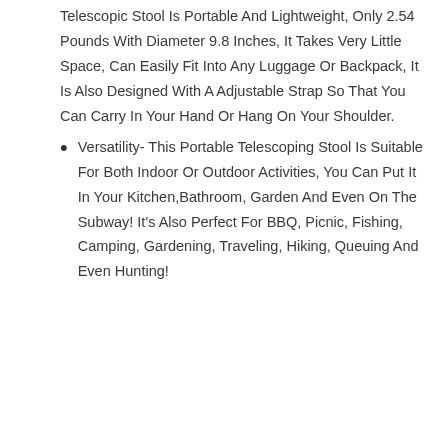Telescopic Stool Is Portable And Lightweight, Only 2.54 Pounds With Diameter 9.8 Inches, It Takes Very Little Space, Can Easily Fit Into Any Luggage Or Backpack, It Is Also Designed With A Adjustable Strap So That You Can Carry In Your Hand Or Hang On Your Shoulder.
Versatility- This Portable Telescoping Stool Is Suitable For Both Indoor Or Outdoor Activities, You Can Put It In Your Kitchen,Bathroom, Garden And Even On The Subway! It's Also Perfect For BBQ, Picnic, Fishing, Camping, Gardening, Traveling, Hiking, Queuing And Even Hunting!